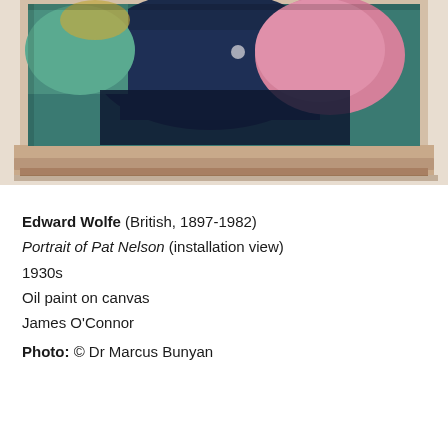[Figure (photo): Photograph showing the bottom portion of a framed painting. The painting features figures with colors including teal/green, dark navy, pink and mauve tones. The frame is a pale beige/cream color with a decorative molding.]
Edward Wolfe (British, 1897-1982)
Portrait of Pat Nelson (installation view)
1930s
Oil paint on canvas
James O'Connor
Photo: © Dr Marcus Bunyan